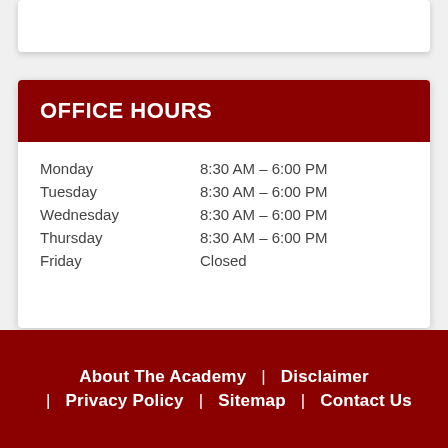| Day | Hours |
| --- | --- |
| Monday | 8:30 AM – 6:00 PM |
| Tuesday | 8:30 AM – 6:00 PM |
| Wednesday | 8:30 AM – 6:00 PM |
| Thursday | 8:30 AM – 6:00 PM |
| Friday | Closed |
About The Academy  |  Disclaimer  |  Privacy Policy  |  Sitemap  |  Contact Us